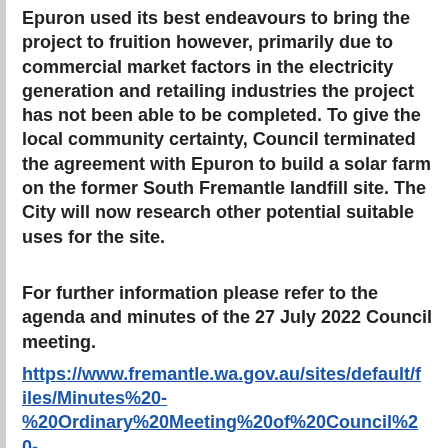Epuron used its best endeavours to bring the project to fruition however, primarily due to commercial market factors in the electricity generation and retailing industries the project has not been able to be completed. To give the local community certainty, Council terminated the agreement with Epuron to build a solar farm on the former South Fremantle landfill site. The City will now research other potential suitable uses for the site.
For further information please refer to the agenda and minutes of the 27 July 2022 Council meeting.
https://www.fremantle.wa.gov.au/sites/default/files/Minutes%20-%20Ordinary%20Meeting%20of%20Council%20-%2027%20July%202022%20%28ID%205450014